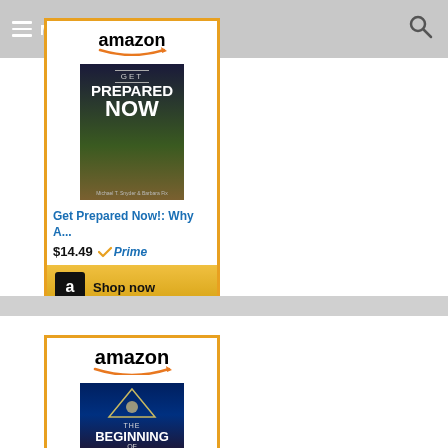[Figure (screenshot): Navigation bar with hamburger menu icon, 'Menu' text, and search icon on gray background]
[Figure (screenshot): Amazon affiliate ad widget showing 'Get Prepared Now' book at $14.49 with Prime badge and Shop now button]
[Figure (screenshot): Amazon affiliate ad widget showing 'The Beginning of The End' book cover, partial view]